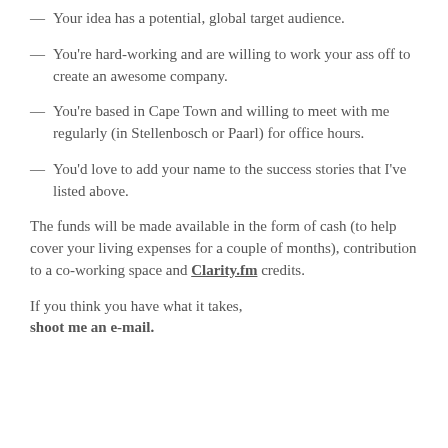— Your idea has a potential, global target audience.
— You're hard-working and are willing to work your ass off to create an awesome company.
— You're based in Cape Town and willing to meet with me regularly (in Stellenbosch or Paarl) for office hours.
— You'd love to add your name to the success stories that I've listed above.
The funds will be made available in the form of cash (to help cover your living expenses for a couple of months), contribution to a co-working space and Clarity.fm credits.
If you think you have what it takes, shoot me an e-mail.